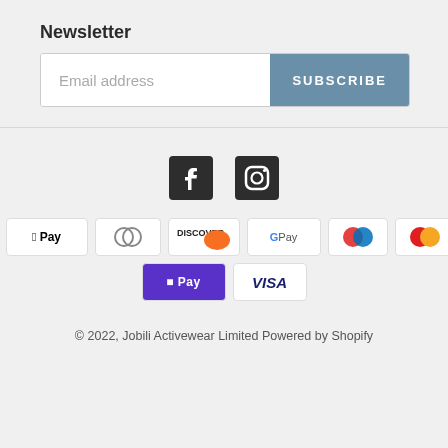Newsletter
Email address | SUBSCRIBE
[Figure (logo): Facebook and Instagram social media icons]
[Figure (other): Payment method badges: American Express, Apple Pay, Diners Club, Discover, Google Pay, Maestro, Mastercard, PayPal, Shop Pay, Visa]
© 2022, Jobili Activewear Limited Powered by Shopify